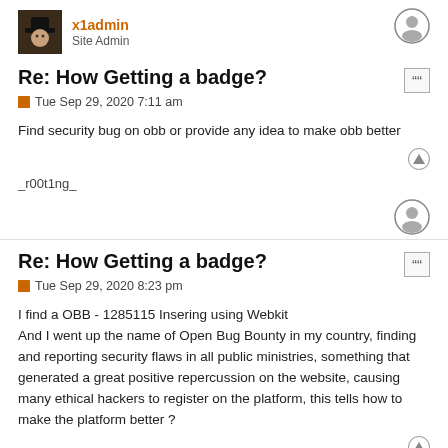x1admin
Site Admin
Re: How Getting a badge?
Tue Sep 29, 2020 7:11 am
Find security bug on obb or provide any idea to make obb better
_r00t1ng_
Re: How Getting a badge?
Tue Sep 29, 2020 8:23 pm
I find a OBB - 1285115 Insering using Webkit
And I went up the name of Open Bug Bounty in my country, finding and reporting security flaws in all public ministries, something that generated a great positive repercussion on the website, causing many ethical hackers to register on the platform, this tells how to make the platform better ?
r00t1ng